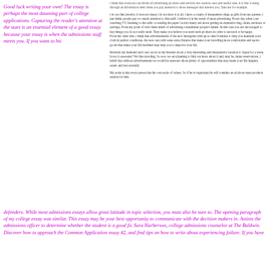Good luck writing your own! The essay is perhaps the most daunting part of college applications. Capturing the reader's attention at the start is an essential element of a good essay because your essay is when the admissions staff meets you. If you want to hit
i think that everyone can divide all advertising products and services into useless ones and useful ones. it is like looking through an information desk when you pay attention to those messages that interest you. Take me for example.

i do not like jewelry. it does not mean i do not have it at all. i have a couple of inexpensive rings as gifts from my parents. i just think, people pay too much attention to this stuff. i believe it is the result of mass advertising. Every day when i am watching TV, listening to the radio or reading the paper i notice many ads about getting an expensive ring, chain, necklace or earrings. From my point of view these kinds of advertising contaminate people's minds. In this case you are encouraged to buy things you do not really need. They make you believe you need such products in order to succeed or be happy.
From the other side, i think that advertisements of the new detergents with up-to-date formulas to help you maintain your cloth in perfect conditions. the new cars with some extra fixtures that make your travelling more comfortable and sports goods that make your life healthier may help you to improve your life.

Recently my husband and i saw an ad on the Internet about a very interesting and inexpensive vacation to Japan for a week. Is not it awesome? We like traveling. So now we are planning to find out more about it and, may be, make reservations. i belief that without advertisements we would be unaware about plenty of opportunities that may make your life happier, easier and less stressful.

My point is that every person has his own scale of values. So if he is vegetarian he will consider an ad about meat products useless for him.
defenders. While most admissions essays allow great latitude in topic selection, you must also be sure to. The opening paragraph of my college essay was similar. This essay may be your best opportunity to communicate with the decision makers in. Assists the admissions officer to determine whether the student is a good fit. Sara Harberson, college admissions counselor at The Baldwin. Discover how to approach the Common Application essay #2, and find tips on how to write about experiencing failure. If you have